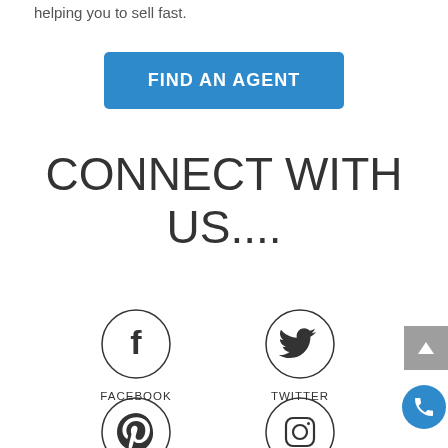helping you to sell fast.
[Figure (other): Blue button labeled FIND AN AGENT]
CONNECT WITH US....
[Figure (other): Facebook icon in circle with label FACEBOOK]
[Figure (other): Twitter icon in circle with label TWITTER]
[Figure (other): Pinterest icon in circle]
[Figure (other): Instagram icon in circle]